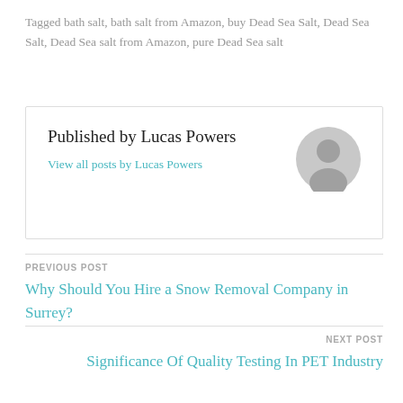Tagged bath salt, bath salt from Amazon, buy Dead Sea Salt, Dead Sea Salt, Dead Sea salt from Amazon, pure Dead Sea salt
Published by Lucas Powers
View all posts by Lucas Powers
PREVIOUS POST
Why Should You Hire a Snow Removal Company in Surrey?
NEXT POST
Significance Of Quality Testing In PET Industry